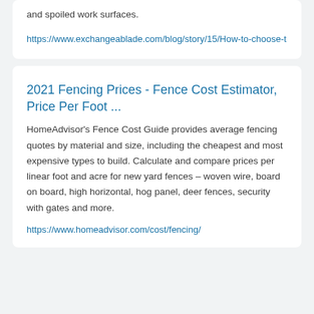and spoiled work surfaces.
https://www.exchangeablade.com/blog/story/15/How-to-choose-t
2021 Fencing Prices - Fence Cost Estimator, Price Per Foot ...
HomeAdvisor's Fence Cost Guide provides average fencing quotes by material and size, including the cheapest and most expensive types to build. Calculate and compare prices per linear foot and acre for new yard fences – woven wire, board on board, high horizontal, hog panel, deer fences, security with gates and more.
https://www.homeadvisor.com/cost/fencing/